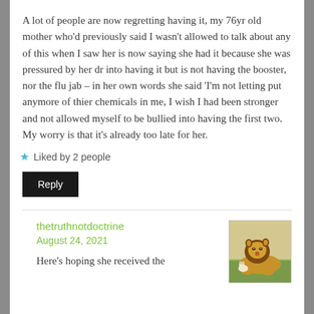A lot of people are now regretting having it, my 76yr old mother who'd previously said I wasn't allowed to talk about any of this when I saw her is now saying she had it because she was pressured by her dr into having it but is not having the booster, nor the flu jab – in her own words she said 'I'm not letting put anymore of thier chemicals in me, I wish I had been stronger and not allowed myself to be bullied into having the first two.
My worry is that it's already too late for her.
Liked by 2 people
Reply
thetruthnotdoctrine
August 24, 2021
[Figure (photo): A lion lying on grass, avatar/profile image]
Here's hoping she received the